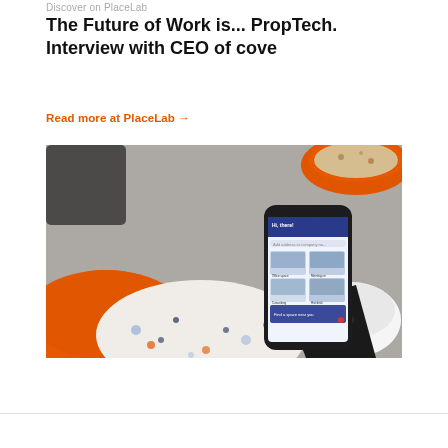Discover on PlaceLab
The Future of Work is... PropTech. Interview with CEO of cove
Read more at PlaceLab →
[Figure (photo): Overhead photo of a person's hand holding a smartphone displaying the Cove app interface, with orange and terrazzo-patterned furniture in the background on a fuzzy grey rug]